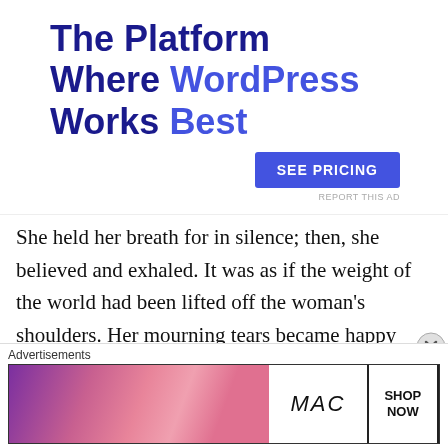[Figure (infographic): Advertisement banner: 'The Platform Where WordPress Works Best' with a 'SEE PRICING' button and 'REPORT THIS AD' label]
She held her breath for in silence; then, she believed and exhaled. It was as if the weight of the world had been lifted off the woman's shoulders. Her mourning tears became happy tears, and the anticipation of the new birth again gave her hope. No one had ever considered the possibility that God had already granted this grieving woman's prayer
[Figure (infographic): MAC cosmetics advertisement showing lipsticks and 'SHOP NOW' call to action]